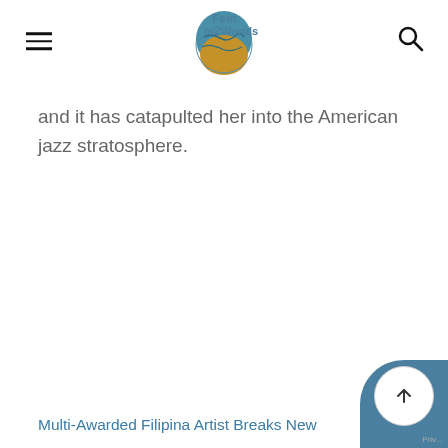Feet in 2 Worlds [logo]
and it has catapulted her into the American jazz stratosphere.
Multi-Awarded Filipina Artist Breaks New